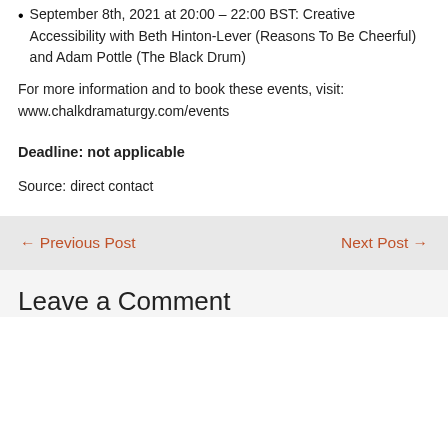• September 8th, 2021 at 20:00 – 22:00 BST: Creative Accessibility with Beth Hinton-Lever (Reasons To Be Cheerful) and Adam Pottle (The Black Drum)
For more information and to book these events, visit: www.chalkdramaturgy.com/events
Deadline: not applicable
Source: direct contact
← Previous Post    Next Post →
Leave a Comment